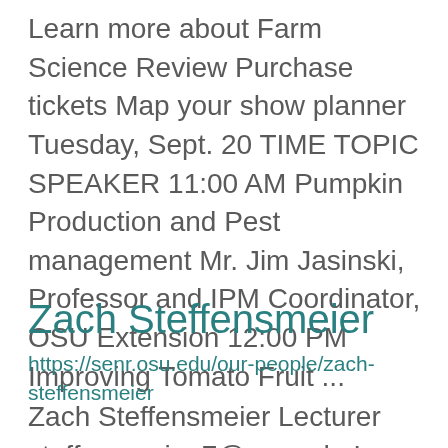Learn more about Farm Science Review Purchase tickets Map your show planner Tuesday, Sept. 20 TIME TOPIC SPEAKER 11:00 AM Pumpkin Production and Pest management Mr. Jim Jasinski, Professor and IPM Coordinator, OSU Extension 12:00 PM Improving Tomato Fruit ...
Zach Steffensmeier
https://senr.osu.edu/our-people/zach-steffensmeier
Zach Steffensmeier Lecturer steffensmeier.7@osu.edu I am broadly interested in aquatic ecology, with a focus on dispersal ecology of freshwater stream